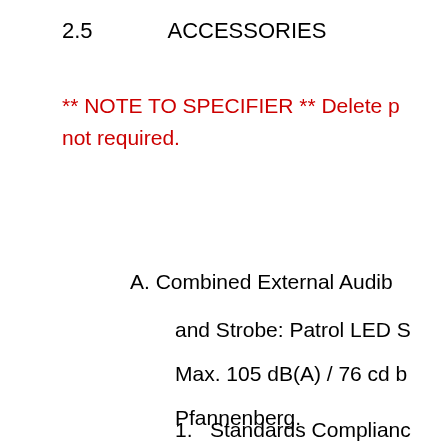2.5        ACCESSORIES
** NOTE TO SPECIFIER ** Delete paragraphs not required.
A. Combined External Audible and Strobe: Patrol LED S... Max. 105 dB(A) / 76 cd b... Pfannenberg.
1.   Standards Compliance